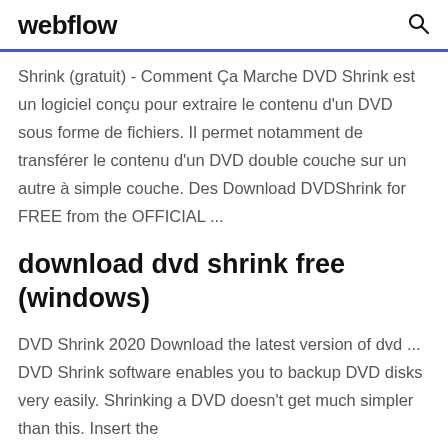webflow
Shrink (gratuit) - Comment Ça Marche DVD Shrink est un logiciel conçu pour extraire le contenu d'un DVD sous forme de fichiers. Il permet notamment de transférer le contenu d'un DVD double couche sur un autre à simple couche. Des Download DVDShrink for FREE from the OFFICIAL ...
download dvd shrink free (windows)
DVD Shrink 2020 Download the latest version of dvd ... DVD Shrink software enables you to backup DVD disks very easily. Shrinking a DVD doesn't get much simpler than this. Insert the